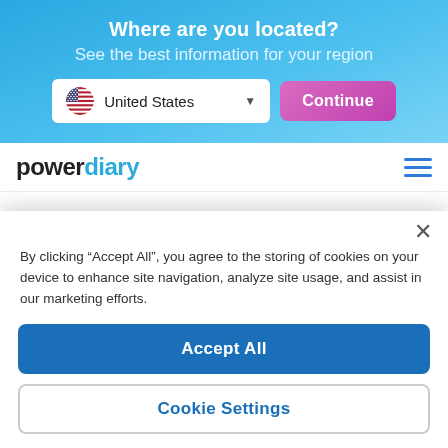Where are you located?
See the best information for your region
[Figure (screenshot): Dropdown selector showing United States flag and text, with a pink Continue button]
[Figure (logo): Power Diary logo with hamburger menu icon]
We are always on hand to support you and answer any questions or concerns which may arise, either by email or live chat on our website. If you'd prefer a phone call
By clicking “Accept All”, you agree to the storing of cookies on your device to enhance site navigation, analyze site usage, and assist in our marketing efforts.
Accept All
Cookie Settings